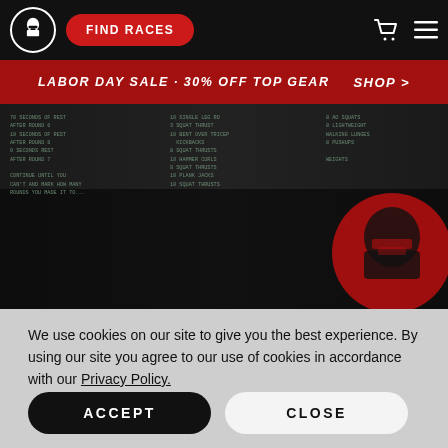FIND RACES
[Figure (screenshot): Spartan Race website hero image showing workout instructions text in green monospace on dark background with red Spartan helmet logo]
LABOR DAY SALE · 30% OFF TOP GEAR   SHOP >
We use cookies on our site to give you the best experience. By using our site you agree to our use of cookies in accordance with our Privacy Policy.
ACCEPT
CLOSE